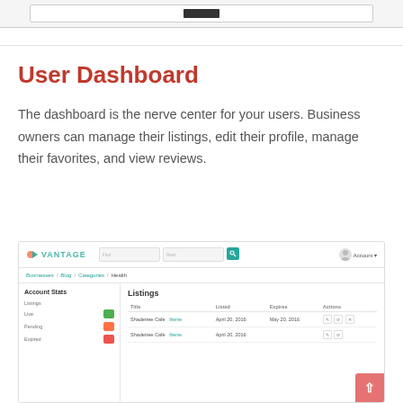[Figure (screenshot): Partial screenshot of a website interface showing a dark bar element in a browser-like frame at the top of the page]
User Dashboard
The dashboard is the nerve center for your users. Business owners can manage their listings, edit their profile, manage their favorites, and view reviews.
[Figure (screenshot): Screenshot of the Vantage user dashboard interface showing Account Stats sidebar with Listings (Live, Pending, Expired) and a Listings table with columns Title, Listed, Expires, Actions showing two Shadetree Cafe entries]